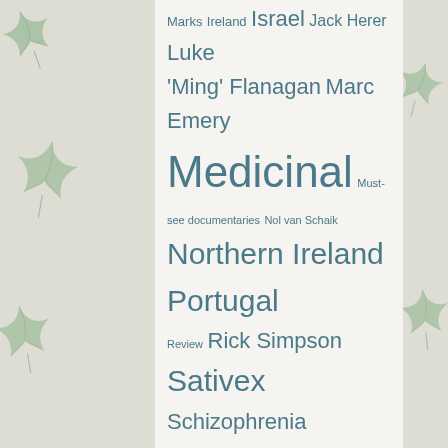Marks Ireland Israel Jack Herer Luke 'Ming' Flanagan Marc Emery Medicinal Must-see documentaries Nol van Schaik Northern Ireland Portugal Review Rick Simpson Sativex Schizophrenia Seeds Social Club Study THC Uruguay Vancouver Vaporizer
RECENT POSTS
How to Take a Break from Weed: Building Healthy Cannabis Habits
The backdoor of a coffeeshop is not just an emergency exit
Buying CBD Flower Directly From The Farm